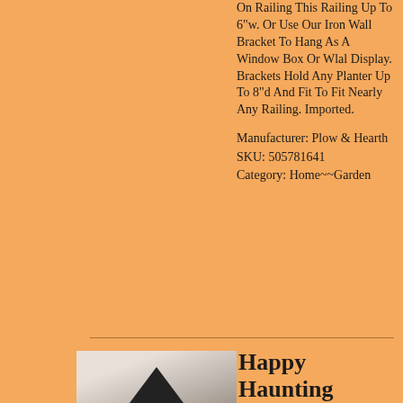On Railing This Railing Up To 6"w. Or Use Our Iron Wall Bracket To Hang As A Window Box Or Wlal Display. Brackets Hold Any Planter Up To 8"d And Fit To Fit Nearly Any Railing. Imported.
Manufacturer: Plow & Hearth SKU: 505781641 Category: Home~~Garden
[Figure (photo): Photo of a product, partially visible at bottom of page, appears to be a black tent or triangular shaped item on a light background]
Happy Haunting